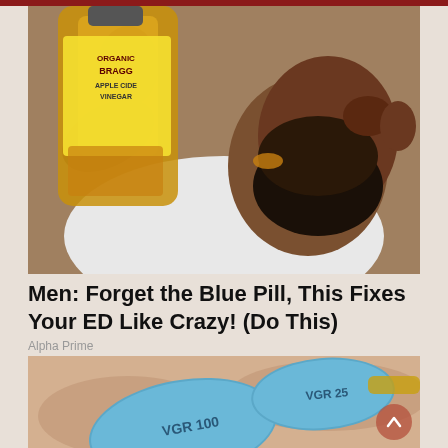[Figure (photo): Man drinking from a Bragg Organic Apple Cider Vinegar bottle]
Men: Forget the Blue Pill, This Fixes Your ED Like Crazy! (Do This)
Alpha Prime
[Figure (photo): Close-up of two blue diamond-shaped pills labeled VGR 100 and VGR 25]